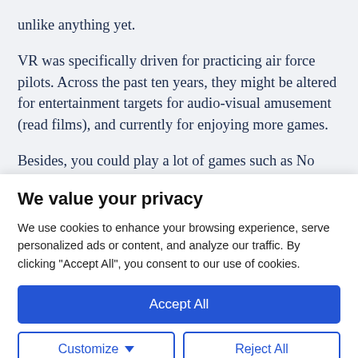unlike anything yet.
VR was specifically driven for practicing air force pilots. Across the past ten years, they might be altered for entertainment targets for audio-visual amusement (read films), and currently for enjoying more games.
Besides, you could play a lot of games such as No
We value your privacy
We use cookies to enhance your browsing experience, serve personalized ads or content, and analyze our traffic. By clicking "Accept All", you consent to our use of cookies.
Accept All
Customize
Reject All